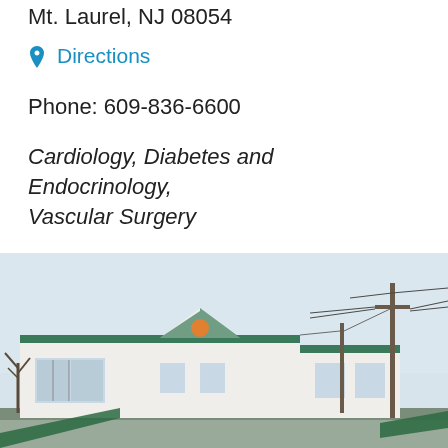Mt. Laurel, NJ 08054
Directions
Phone: 609-836-6600
Cardiology, Diabetes and Endocrinology, Vascular Surgery
Office Hours: 8:00am to 4:30pm
Request Appointment →
[Figure (photo): Exterior photo of a white medical office building with green roof trim, windows in front, surrounded by utility poles and bare trees under an overcast sky.]